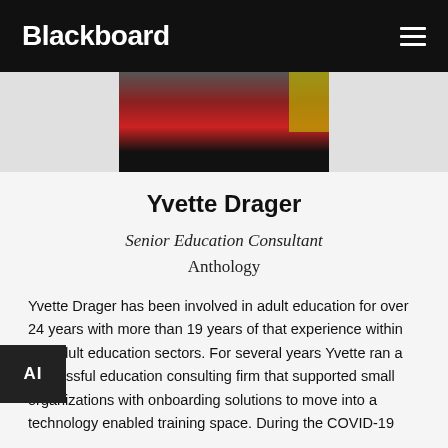Blackboard
[Figure (photo): Partial photo of Yvette Drager wearing a red jacket, cropped at the top]
Yvette Drager
Senior Education Consultant
Anthology
Yvette Drager has been involved in adult education for over 24 years with more than 19 years of that experience within the adult education sectors. For several years Yvette ran a successful education consulting firm that supported small organizations with onboarding solutions to move into a technology enabled training space. During the COVID-19